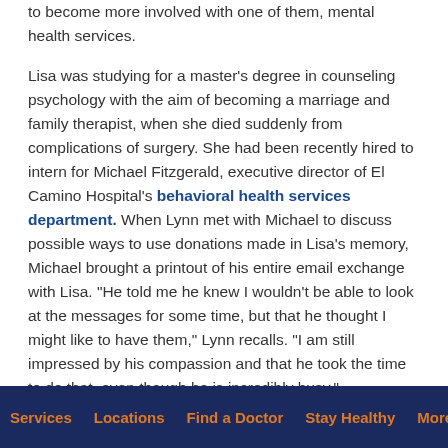to become more involved with one of them, mental health services.
Lisa was studying for a master's degree in counseling psychology with the aim of becoming a marriage and family therapist, when she died suddenly from complications of surgery. She had been recently hired to intern for Michael Fitzgerald, executive director of El Camino Hospital's behavioral health services department. When Lynn met with Michael to discuss possible ways to use donations made in Lisa's memory, Michael brought a printout of his entire email exchange with Lisa. "He told me he knew I wouldn't be able to look at the messages for some time, but that he thought I might like to have them," Lynn recalls. "I am still impressed by his compassion and that he took the time to do that, even though he is incredibly busy."
Lynn later joined the Foundation's Adopt a Strategic Initiative
Services   Locations   Find a Doctor   Stay Healthy   More